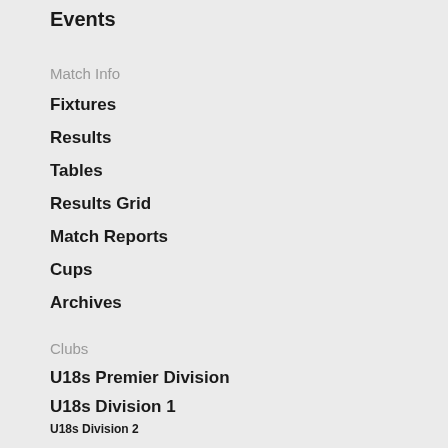Events
Match Info
Fixtures
Results
Tables
Results Grid
Match Reports
Cups
Archives
Clubs
U18s Premier Division
U18s Division 1
U18s Division 2
U17s Premier Division
U16s Premier Division
Videos And Photos